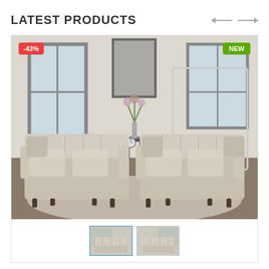LATEST PRODUCTS
[Figure (photo): Living room scene showing two beige/cream tufted sofas facing each other with decorative pillows, a small side table with flowers, framed artwork on the wall, and windows in the background. Has a -43% discount badge on the upper left and a NEW badge on the upper right. Below the main image are two thumbnail previews of the same product.]